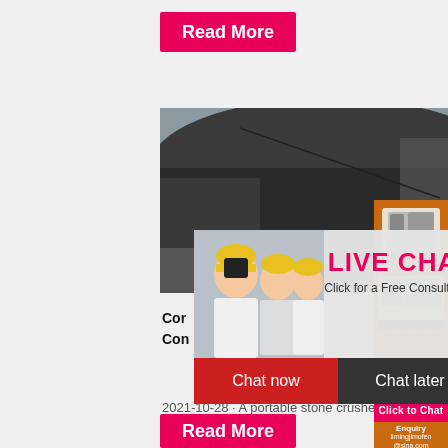[Figure (other): Pink/red 'Read More' button at top]
[Figure (photo): Industrial coal yard scene with worker in yellow hard hat and colleagues in background]
5
Types
[Figure (photo): Orange sidebar panel with crusher/industrial equipment images]
[Figure (infographic): Live chat popup overlay with 'LIVE CHAT' title, 'Click for a Free Consultation', 'Chat now' and 'Chat later' buttons]
Cor
Con
2021-10-28  ·  A portable stone crusher, a
Enjoy 3% discount
Click to Chat
Enquiry
limingjlmofen
@sina.com
[Figure (other): Pink/red 'Read More' button at bottom]